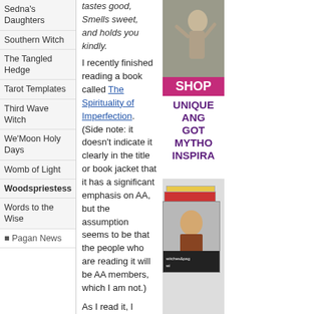Sedna's Daughters
tastes good,
Smells sweet,
and holds you kindly.
Southern Witch
The Tangled Hedge
I recently finished reading a book called The Spirituality of Imperfection. (Side note: it doesn't indicate it clearly in the title or book jacket that it has a significant emphasis on AA, but the assumption seems to be that the people who are reading it will be AA members, which I am not.)
Tarot Templates
Third Wave Witch
We'Moon Holy Days
Womb of Light
Woodspriestess
Words to the Wise
Pagan News
As I read it, I started to reflect on the glorification of suffering in some religious perspectives as well as the ascetic mystical traditions that encourage extremes of self-denial (only eating one a meal a week, wearing only a single rag, sleeping on a board without a blanket or with a rock for a pillow, etc.) and how sometimes these seem to be held up as admirable examples or goals to attain. I wrote this short poem above spontaneously while talking to my husband
[Figure (photo): Statue/sculpture image (top right), SHOP banner in pink, advertisement text for unique angel/mythology inspiration items, stacked witches & pagans magazine covers]
UNIQUE
ANG
GOT
MYTHO
INSPIRA